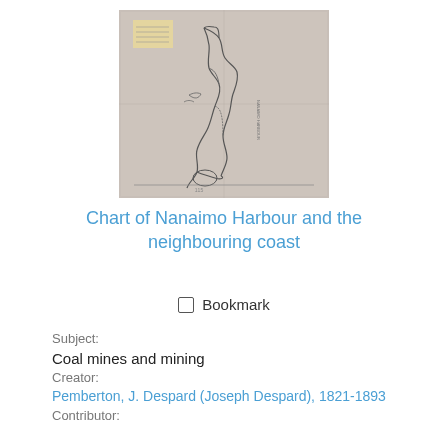[Figure (map): Scanned historical map document showing a hand-drawn coastal chart, likely of Nanaimo Harbour. The map is drawn on aged/yellowed paper with pencil lines showing coastline features, a small label patch in the upper left corner, and various geographic outlines.]
Chart of Nanaimo Harbour and the neighbouring coast
Bookmark
Subject:
Coal mines and mining
Creator:
Pemberton, J. Despard (Joseph Despard), 1821-1893
Contributor: